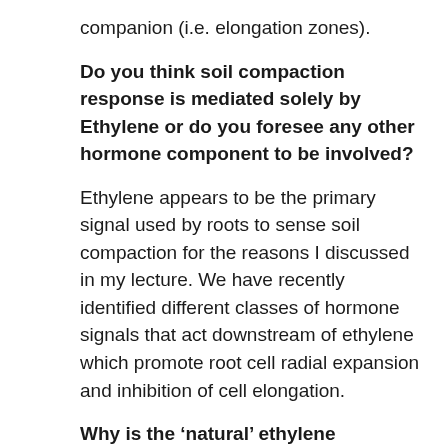companion (i.e. elongation zones).
Do you think soil compaction response is mediated solely by Ethylene or do you foresee any other hormone component to be involved?
Ethylene appears to be the primary signal used by roots to sense soil compaction for the reasons I discussed in my lecture. We have recently identified different classes of hormone signals that act downstream of ethylene which promote root cell radial expansion and inhibition of cell elongation.
Why is the ‘natural’ ethylene response the adaptive response to root growth?